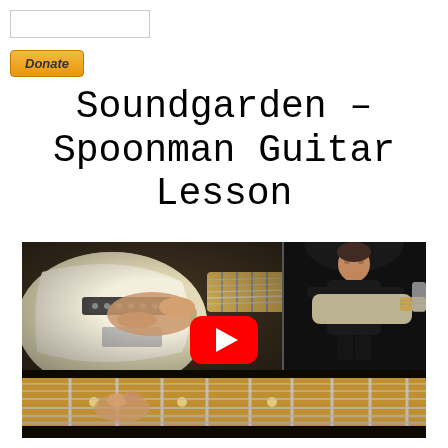[Figure (other): Search box input field]
[Figure (other): PayPal Donate button in gold/orange color]
Soundgarden - Spoonman Guitar Lesson
[Figure (screenshot): YouTube video thumbnail showing guitar lesson for Soundgarden Spoonman, with close-up of electric guitar body top-left, guitarist in dark background top-right, fretboard bottom strip, and YouTube red play button overlay in center]